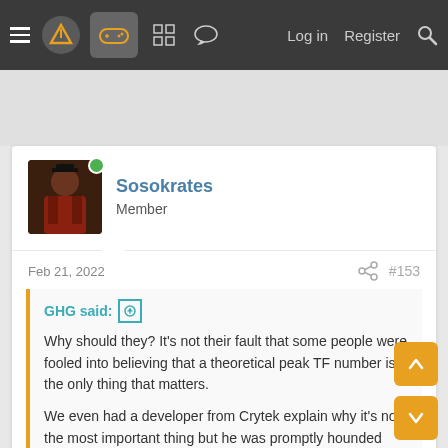Navigation bar with menu, logo, gamepad icon, grid icon, chat icon, Log in, Register, Search
Sosokrates
Member
Feb 21, 2022   #153
GHG said: ↑

Why should they? It's not their fault that some people were fooled into believing that a theoretical peak TF number is the only thing that matters.

We even had a developer from Crytek explain why it's not the most important thing but he was promptly hounded and silenced.
The funny thing is we will probably go this entire gen without knowing the reasons why the PS5 has been punching above